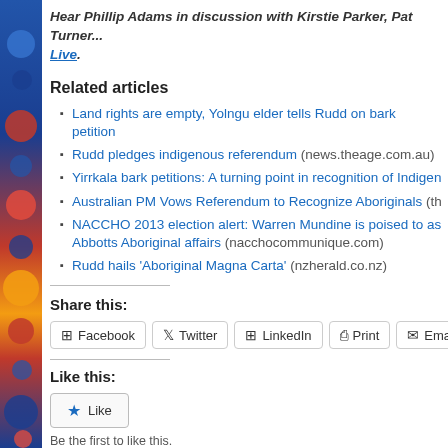Hear Phillip Adams in discussion with Kirstie Parker, Pat Turner... Live.
Related articles
Land rights are empty, Yolngu elder tells Rudd on bark petition
Rudd pledges indigenous referendum (news.theage.com.au)
Yirrkala bark petitions: A turning point in recognition of Indigen...
Australian PM Vows Referendum to Recognize Aboriginals (th...
NACCHO 2013 election alert: Warren Mundine is poised to as... Abbotts Aboriginal affairs (nacchocommunique.com)
Rudd hails 'Aboriginal Magna Carta' (nzherald.co.nz)
Share this:
Facebook Twitter LinkedIn Print Email
Like this:
Like
Be the first to like this.
By nacchomedia • Posted in Aboriginal health in the news • Tagged Aboriginal Co... Mohamed, Ken Wyatt, Kevin Rudd, Lisa Briggs, Mick Gooda, Northern Territory...